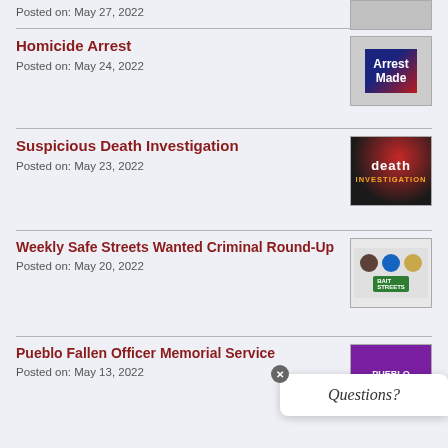Posted on: May 27, 2022
Homicide Arrest
Posted on: May 24, 2022
Suspicious Death Investigation
Posted on: May 23, 2022
Weekly Safe Streets Wanted Criminal Round-Up
Posted on: May 20, 2022
Pueblo Fallen Officer Memorial Service
Posted on: May 13, 2022
Weekly Safe Streets Wanted Criminal Round-Up
Posted on: May 13, 2022